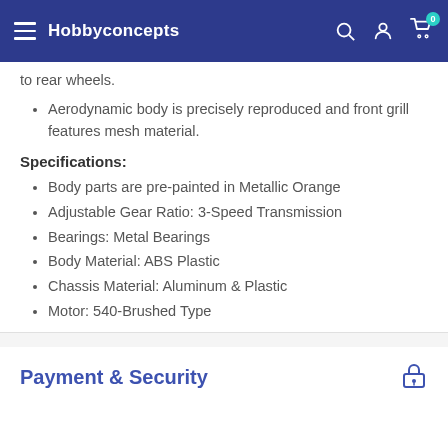Hobbyconcepts
to rear wheels.
Aerodynamic body is precisely reproduced and front grill features mesh material.
Specifications:
Body parts are pre-painted in Metallic Orange
Adjustable Gear Ratio: 3-Speed Transmission
Bearings: Metal Bearings
Body Material: ABS Plastic
Chassis Material: Aluminum & Plastic
Motor: 540-Brushed Type
Payment & Security